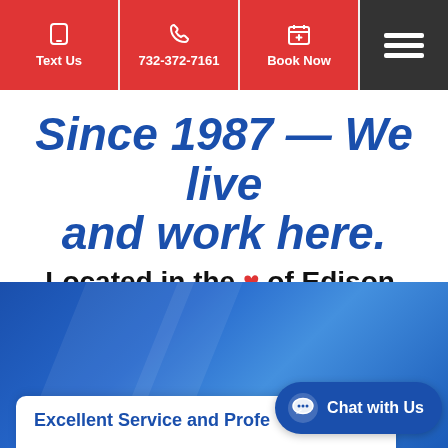[Figure (screenshot): Navigation bar with three red buttons (Text Us, 732-372-7161, Book Now) and a dark hamburger menu button]
Since 1987 — We live and work here.
Located in the ❤ of Edison.
[Figure (photo): Blue diagonal striped banner background]
Excellent Service and Profe...
[Figure (other): Chat with Us button overlay]